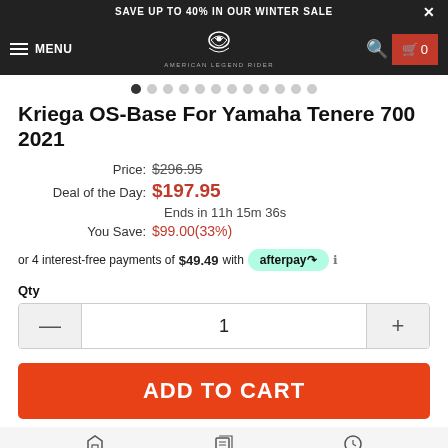SAVE UP TO 40% IN OUR WINTER SALE
[Figure (screenshot): Navigation bar with hamburger menu, MENU label, American Legend Rider logo, search icon, and cart button showing 0 items]
Kriega OS-Base For Yamaha Tenere 700 2021
Price: $296.95
Deal of the Day: $197.95
Ends in 11h 15m 36s
You Save: $99.00(33%)
or 4 interest-free payments of $49.49 with afterpay
Qty
1
ADD TO CART